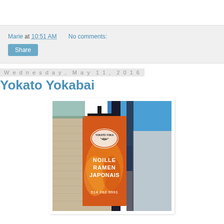Marie at 10:51 AM    No comments:
Share
Wednesday, May 11, 2016
Yokato Yokabai
[Figure (photo): Exterior photo of Yokato Yokabai restaurant showing a vertical banner sign with the restaurant logo and text reading 'NOILLE RAMEN JAPONAIS' and phone number '514 262 9991', against a brick wall and blue sky background.]